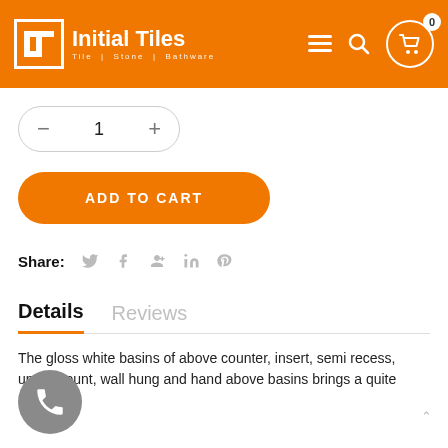[Figure (logo): Initial Tiles logo with orange background, white text and icon. Tagline: Tile | Stone | Bathware]
1
ADD TO CART
Share:
Details
Reviews
The gloss white basins of above counter, insert, semi recess, undermount, wall hung and hand above basins brings a quite